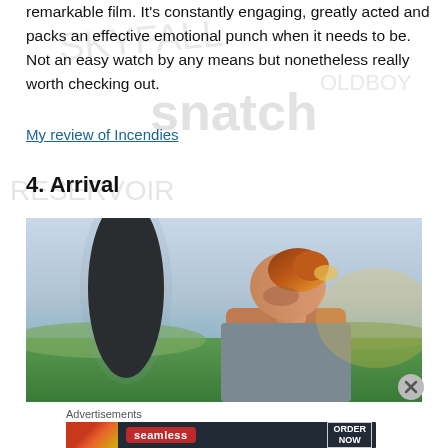remarkable film. It's constantly engaging, greatly acted and packs an effective emotional punch when it needs to be. Not an easy watch by any means but nonetheless really worth checking out.
My review of Incendies
4. Arrival
[Figure (photo): Movie still from Arrival showing a woman with red hair in a bun looking down, with a large dark alien spacecraft (ovoid shape) in the background against a sky and green field landscape.]
Advertisements
[Figure (screenshot): Seamless food delivery advertisement banner showing pizza slices on left, red Seamless logo in center, and ORDER NOW button on right, on dark background.]